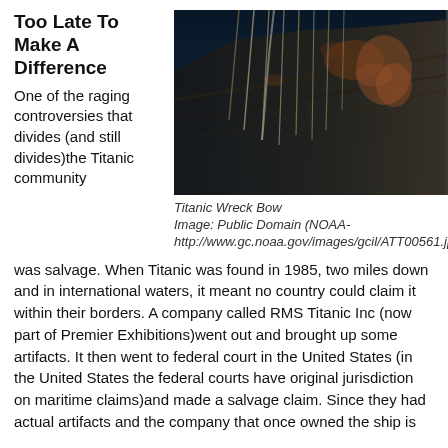Too Late To Make A Difference
One of the raging controversies that divides (and still divides)the Titanic community
[Figure (photo): Underwater photograph of the Titanic wreck bow, showing deteriorated hull with hanging ropes/chains and rust, against a dark deep ocean background]
Titanic Wreck Bow
Image: Public Domain (NOAA- http://www.gc.noaa.gov/images/gcil/ATT00561.jpg)
was salvage. When Titanic was found in 1985, two miles down and in international waters, it meant no country could claim it within their borders. A company called RMS Titanic Inc (now part of Premier Exhibitions)went out and brought up some artifacts. It then went to federal court in the United States (in the United States the federal courts have original jurisdiction on maritime claims)and made a salvage claim. Since they had actual artifacts and the company that once owned the ship is